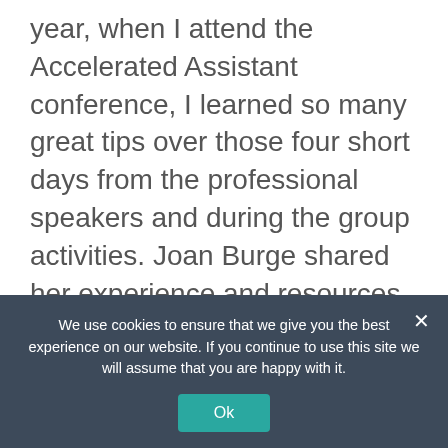year, when I attend the Accelerated Assistant conference, I learned so many great tips over those four short days from the professional speakers and during the group activities. Joan Burge shared her experience and resources with the group daily to make the conference a true game-changer for … Read more
Administrative Tips and Tricks, Collaboration, Communication, Connect,
We use cookies to ensure that we give you the best experience on our website. If you continue to use this site we will assume that you are happy with it.